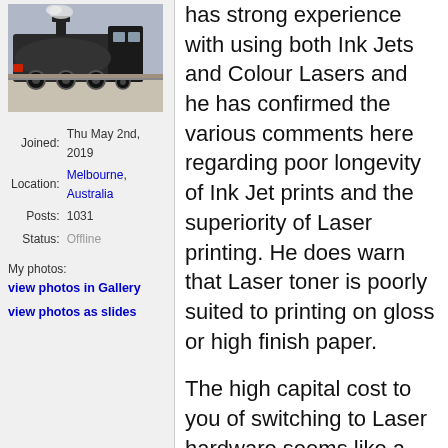[Figure (photo): Photo of a steam locomotive at a railway platform]
Joined: Thu May 2nd, 2019
Location: Melbourne, Australia
Posts: 1031
Status: Offline
My photos:
view photos in Gallery
view photos as slides
has strong experience with using both Ink Jets and Colour Lasers and he has confirmed the various comments here regarding poor longevity of Ink Jet prints and the superiority of Laser printing. He does warn that Laser toner is poorly suited to printing on gloss or high finish paper.
The high capital cost to you of switching to Laser hardware seems like a last resort if you can't find a different solution. Here I'm guessing that your issue is to get kits run off on a one by one basis rather than a whole load of sheets from the scratch-builder's yard. Otherwise a diverse range of resources could just be printed off in bulk for future use.
Have you looked for alternative, custom printing